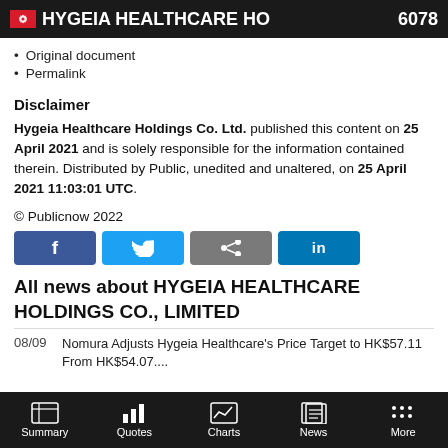HYGEIA HEALTHCARE HO  6078
Original document
Permalink
Disclaimer
Hygeia Healthcare Holdings Co. Ltd. published this content on 25 April 2021 and is solely responsible for the information contained therein. Distributed by Public, unedited and unaltered, on 25 April 2021 11:03:01 UTC.
© Publicnow 2022
[Figure (other): Social sharing buttons: Facebook, Twitter, Share, LinkedIn]
All news about HYGEIA HEALTHCARE HOLDINGS CO., LIMITED
08/09  Nomura Adjusts Hygeia Healthcare's Price Target to HK$57.11 From HK$54.07....
Summary  Quotes  Charts  News  More